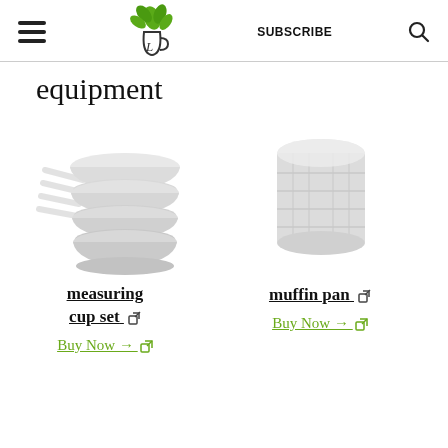SUBSCRIBE
equipment
[Figure (illustration): Stacked measuring cup set, white/light grey, shown from side angle with handles extending left]
measuring cup set ↗
Buy Now → ↗
[Figure (illustration): Muffin pan, white/light grey cylindrical shape stacked, shown from front]
muffin pan ↗
Buy Now → ↗